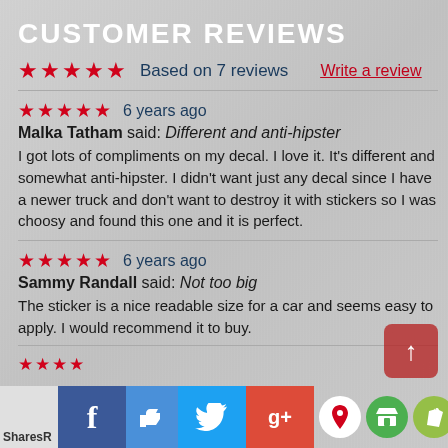CUSTOMER REVIEWS
★★★★★ Based on 7 reviews   Write a review
★★★★★ 6 years ago
Malka Tatham said: Different and anti-hipster
I got lots of compliments on my decal. I love it. It's different and somewhat anti-hipster. I didn't want just any decal since I have a newer truck and don't want to destroy it with stickers so I was choosy and found this one and it is perfect.
★★★★★ 6 years ago
Sammy Randall said: Not too big
The sticker is a nice readable size for a car and seems easy to apply. I would recommend it to buy.
★★★★
SharesR | Facebook | Like | Twitter | Google+ | Map | Store | Shopify | PCI